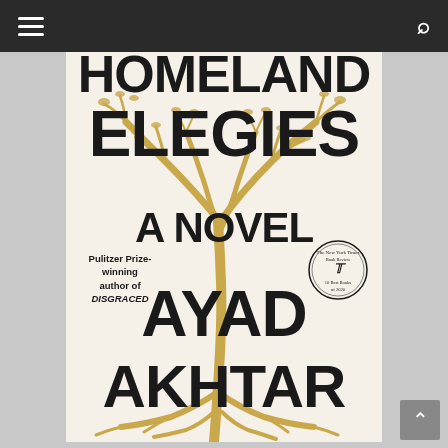Navigation header with hamburger menu and search icon
[Figure (illustration): Book cover of 'Homeland Elegies: A Novel' by Ayad Akhtar. Cream/off-white background with a large illustrated golden tree with bare branches at top and roots at bottom. Bold black text overlays the tree: 'HOMELAND ELEGIES' at top, 'A NOVEL' in middle, 'AYAD AKHTAR' at bottom. Small text reads 'Pulitzer Prize-winning author of DISGRACED'. A New York Times Book Review circular badge appears on the right side reading '10 Best Books of 2020'.]